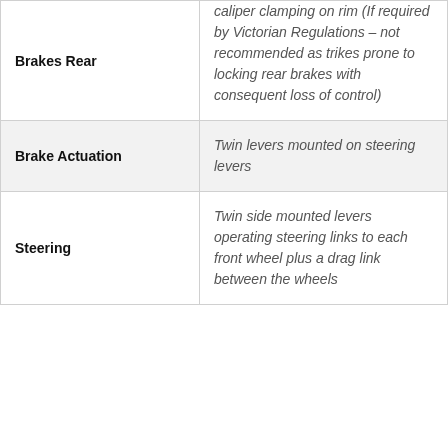| Feature | Description |
| --- | --- |
| Brakes Rear | caliper clamping on rim (If required by Victorian Regulations – not recommended as trikes prone to locking rear brakes with consequent loss of control) |
| Brake Actuation | Twin levers mounted on steering levers |
| Steering | Twin side mounted levers operating steering links to each front wheel plus a drag link between the wheels |